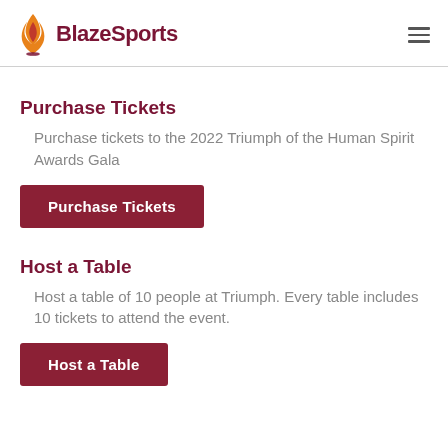BlazeSports
Purchase Tickets
Purchase tickets to the 2022 Triumph of the Human Spirit Awards Gala
Purchase Tickets
Host a Table
Host a table of 10 people at Triumph. Every table includes 10 tickets to attend the event.
Host a Table